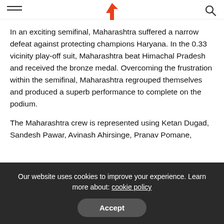In an exciting semifinal, Maharashtra suffered a narrow defeat against protecting champions Haryana. In the 0.33 vicinity play-off suit, Maharashtra beat Himachal Pradesh and received the bronze medal. Overcoming the frustration within the semifinal, Maharashtra regrouped themselves and produced a superb performance to complete on the podium.
The Maharashtra crew is represented using Ketan Dugad, Sandesh Pawar, Avinash Ahirsinge, Pranav Pomane, Digvijay Atole, Ketan Bhapkar, Abhishek Kulkarni, Suraj Kadam, Sharayu Jagtap, Vishakha Palande, Pooja
Our website uses cookies to improve your experience. Learn more about: cookie policy
Accept